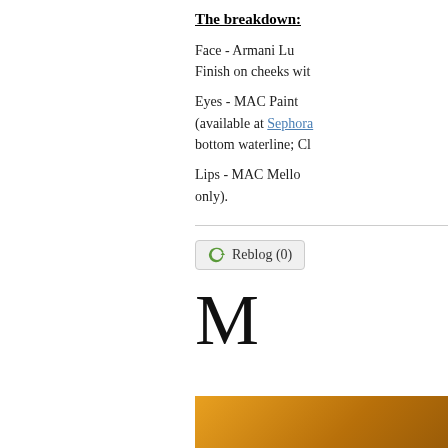The breakdown:
Face - Armani Lu... Finish on cheeks wit...
Eyes - MAC Paint... (available at Sephora...) bottom waterline; Cl...
Lips - MAC Mell... only).
[Figure (other): Reblog (0) button with recycling icon]
M
[Figure (other): Orange/brown gradient rectangle at bottom]